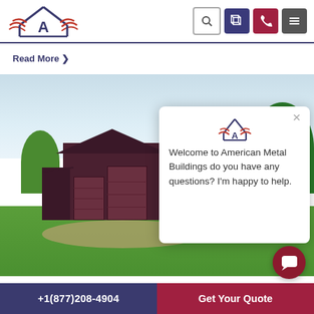[Figure (logo): American Metal Buildings logo with eagle/roof design and stylized A]
[Figure (screenshot): Website screenshot showing American Metal Buildings page with metal barn image and chat popup]
Read More ❯
Welcome to American Metal Buildings do you have any questions? I'm happy to help.
+1(877)208-4904
Get Your Quote